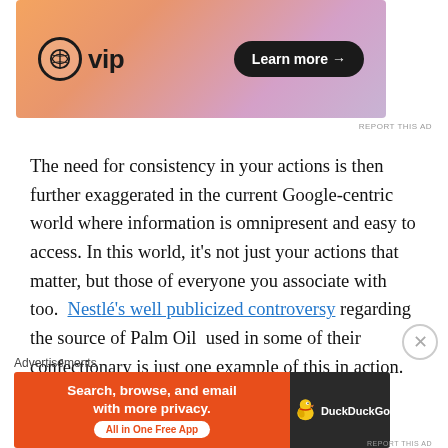[Figure (other): WordPress VIP advertisement banner with orange/purple gradient background, WordPress circle logo, 'vip' text, and 'Learn more →' button]
The need for consistency in your actions is then further exaggerated in the current Google-centric world where information is omnipresent and easy to access. In this world, it's not just your actions that matter, but those of everyone you associate with too.  Nestlé's well publicized controversy regarding the source of Palm Oil  used in some of their confectionary is just one example of this in action.
3) Be Real – The Social World is made up of individuals –
[Figure (other): DuckDuckGo advertisement: 'Search, browse, and email with more privacy. All in One Free App' on orange background with DuckDuckGo duck logo on dark background]